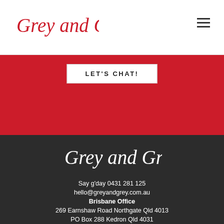[Figure (logo): Grey and Grey script logo in red, top left of header]
[Figure (other): Hamburger menu icon (three horizontal lines) top right]
[Figure (other): Red banner section]
LET'S CHAT!
[Figure (logo): Grey and Grey script logo in white on dark background, footer section]
Say g'day 0431 281 125
hello@greyandgrey.com.au
Brisbane Office
269 Earnshaw Road Northgate Qld 4013
PO Box 288 Kedron Qld 4031
Townsville Office